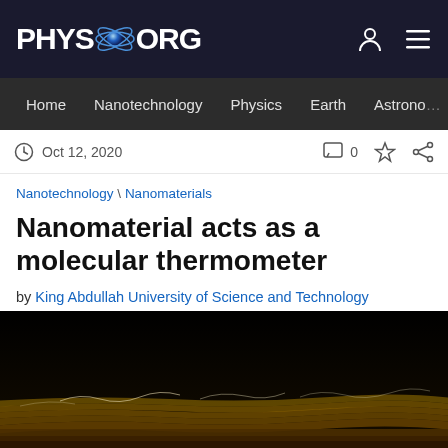[Figure (logo): Phys.org logo with atom icon on dark navy background, with user and menu icons]
Home  Nanotechnology  Physics  Earth  Astrono >
Oct 12, 2020   0
Nanotechnology \ Nanomaterials
Nanomaterial acts as a molecular thermometer
by King Abdullah University of Science and Technology
[Figure (photo): Dark scientific image showing layered nanomaterial with glowing golden/white structures against a black background]